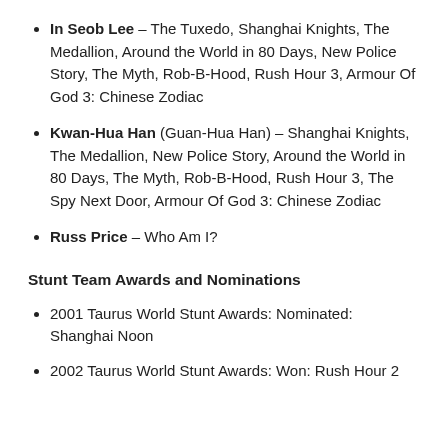In Seob Lee – The Tuxedo, Shanghai Knights, The Medallion, Around the World in 80 Days, New Police Story, The Myth, Rob-B-Hood, Rush Hour 3, Armour Of God 3: Chinese Zodiac
Kwan-Hua Han (Guan-Hua Han) – Shanghai Knights, The Medallion, New Police Story, Around the World in 80 Days, The Myth, Rob-B-Hood, Rush Hour 3, The Spy Next Door, Armour Of God 3: Chinese Zodiac
Russ Price – Who Am I?
Stunt Team Awards and Nominations
2001 Taurus World Stunt Awards: Nominated: Shanghai Noon
2002 Taurus World Stunt Awards: Won: Rush Hour 2